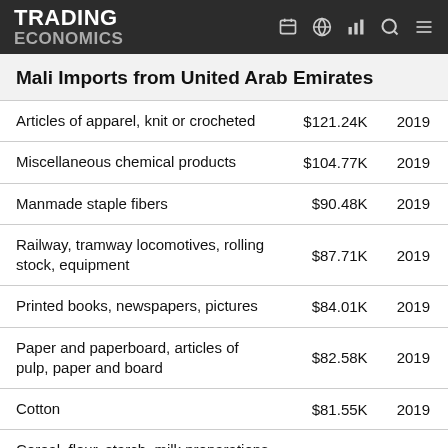TRADING ECONOMICS
Mali Imports from United Arab Emirates
|  |  |  |
| --- | --- | --- |
| Articles of apparel, knit or crocheted | $121.24K | 2019 |
| Miscellaneous chemical products | $104.77K | 2019 |
| Manmade staple fibers | $90.48K | 2019 |
| Railway, tramway locomotives, rolling stock, equipment | $87.71K | 2019 |
| Printed books, newspapers, pictures | $84.01K | 2019 |
| Paper and paperboard, articles of pulp, paper and board | $82.58K | 2019 |
| Cotton | $81.55K | 2019 |
| Cereal, flour, starch, milk preparations and products | $74.36K | 2019 |